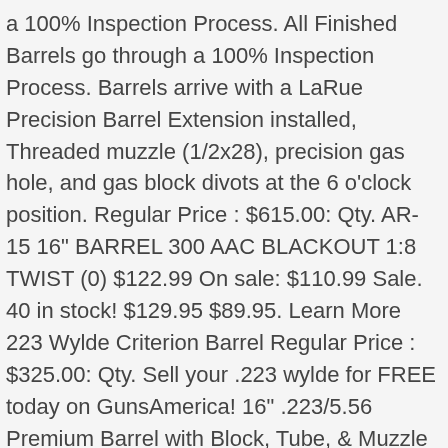a 100% Inspection Process. All Finished Barrels go through a 100% Inspection Process. Barrels arrive with a LaRue Precision Barrel Extension installed, Threaded muzzle (1/2x28), precision gas hole, and gas block divots at the 6 o'clock position. Regular Price : $615.00: Qty. AR-15 16" BARREL 300 AAC BLACKOUT 1:8 TWIST (0) $122.99 On sale: $110.99 Sale. 40 in stock! $129.95 $89.95. Learn More 223 Wylde Criterion Barrel Regular Price : $325.00: Qty. Sell your .223 wylde for FREE today on GunsAmerica! 16" .223/5.56 Premium Barrel with Block, Tube, & Muzzle Device 16" 223 Wylde 1:7 Melonite M4 Ar15 Barrel 16" 300 Blackout Rainbow PVD Oilslick 416r 1:8 Ar15 Barrel 8.5 Inch AR-15 Build Kit. 18" .223 Wylde Stainless Steel QPQ Barrel, Rifle Length. Rainier Arms Select 5.56 NATO Barrel ... Out of stock.